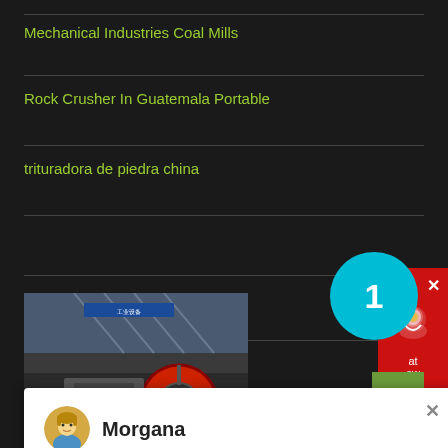Mechanical Industries Coal Mills
Rock Crusher In Guatemala Portable
trituradora de piedra china
[Figure (screenshot): Chat popup with avatar of Morgana, text: Hello, I am Morgana, I am very glad to talk with you!]
Libero Pretium Luctus
[Figure (photo): Industrial machinery/crusher equipment in a factory setting]